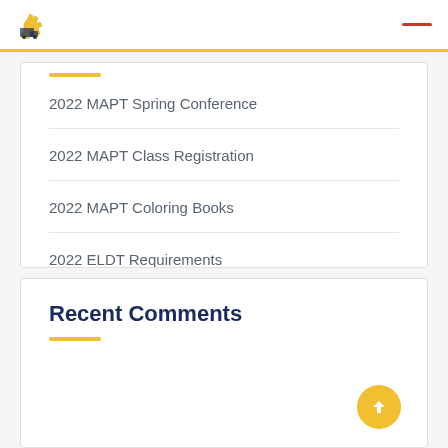MAPT logo and navigation header
2022 MAPT Spring Conference
2022 MAPT Class Registration
2022 MAPT Coloring Books
2022 ELDT Requirements
Driver Shortage
Recent Comments